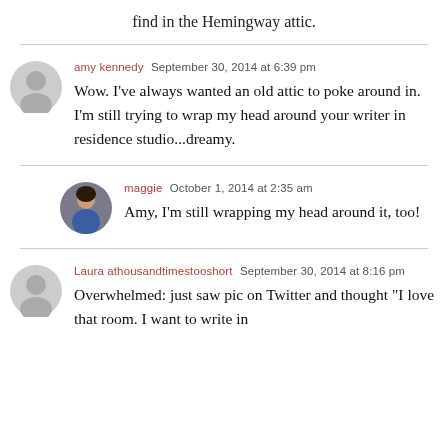find in the Hemingway attic.
amy kennedy  September 30, 2014 at 6:39 pm
Wow. I've always wanted an old attic to poke around in. I'm still trying to wrap my head around your writer in residence studio...dreamy.
maggie  October 1, 2014 at 2:35 am
Amy, I'm still wrapping my head around it, too!
Laura athousandtimestooshort  September 30, 2014 at 8:16 pm
Overwhelmed: just saw pic on Twitter and thought "I love that room. I want to write in